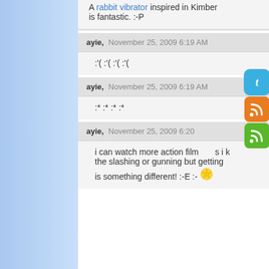A rabbit vibrator inspired in Kimber is fantastic. :-P
ayie, November 25, 2009 6:19 AM
:'( :'( :'( :'(
ayie, November 25, 2009 6:19 AM
:* :* :* :*
ayie, November 25, 2009 6:20
i can watch more action films i k the slashing or gunning but getting is something different! :-E :-